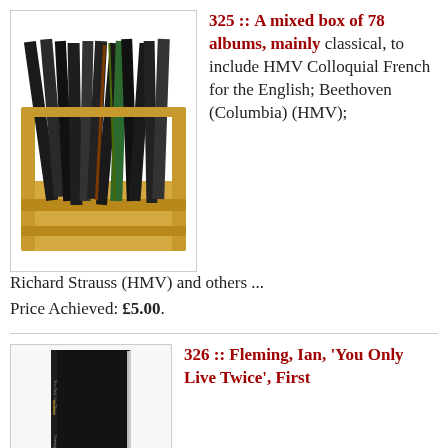[Figure (photo): A wooden crate filled with vinyl/78 rpm record albums stacked upright, viewed from the side.]
325 :: A mixed box of 78 albums, mainly classical, to include HMV Colloquial French for the English; Beethoven (Columbia) (HMV); Richard Strauss (HMV) and others ...
Price Achieved: £5.00.
[Figure (photo): A black hardcover book standing upright, spine visible with small text.]
326 :: Fleming, Ian, 'You Only Live Twice', First